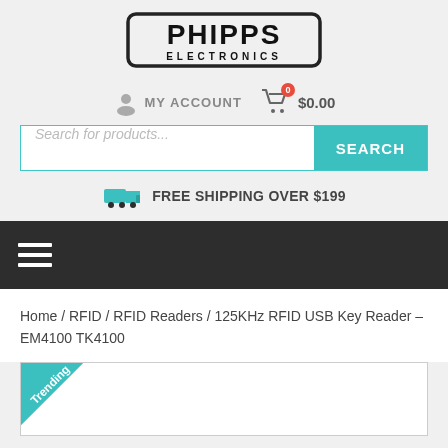[Figure (logo): Phipps Electronics logo — bold black text in a rounded rectangular border]
MY ACCOUNT   $0.00
Search for products...
FREE SHIPPING OVER $199
Home / RFID / RFID Readers / 125KHz RFID USB Key Reader – EM4100 TK4100
[Figure (screenshot): Product image area with a teal Trending ribbon badge in the top-left corner]